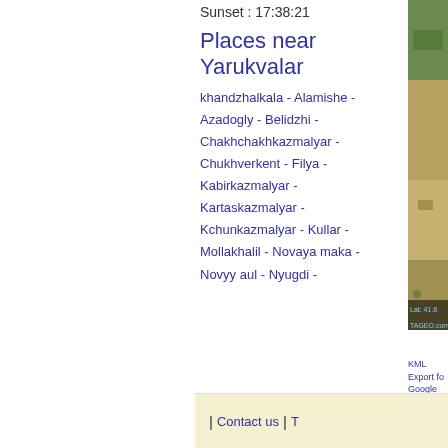Sunset : 17:38:21
Places near Yarukvalar
khandzhalkala - Alamishe - Azadogly - Belidzhi - Chakhchakhkazmalyar - Chukhverkent - Filya - Kabirkazmalyar - Kartaskazmalyar - Kchunkazmalyar - Kullar - Mollakhalil - Novaya maka - Novyy aul - Nyugdi -
[Figure (photo): Aerial/satellite photo of terrain with green and brown landscape, partially cropped on right side. Overlay text shows Lat: 41.8... and TAGEO.com]
KML Export for
Google maps v
Google links fo
| Contact us | T